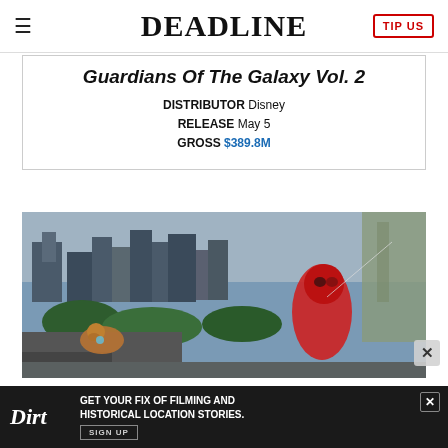DEADLINE
Guardians Of The Galaxy Vol. 2
DISTRIBUTOR Disney
RELEASE May 5
GROSS $389.8M
[Figure (photo): Movie still from Spider-Man: Homecoming showing Spider-Man and Iron Man flying/swinging over a New York City rooftop with city skyline in background]
[Figure (infographic): Advertisement banner for 'Dirt' with text: GET YOUR FIX OF FILMING AND HISTORICAL LOCATION STORIES. SIGN UP]